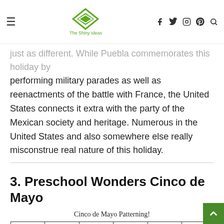The Shiny Ideas
just as different. While Puebla commemorates this holiday by performing military parades as well as reenactments of the battle with France, the United States connects it extra with the party of the Mexican society and heritage. Numerous in the United States and also somewhere else really misconstrue real nature of this holiday.
3. Preschool Wonders Cinco de Mayo
Cinco de Mayo Patterning!
[Figure (illustration): A patterning activity grid showing alternating red strawberries and yellow peppers in the first row, and lime slices and red peppers in the second row. The last cell of the first row is blank for students to fill in.]